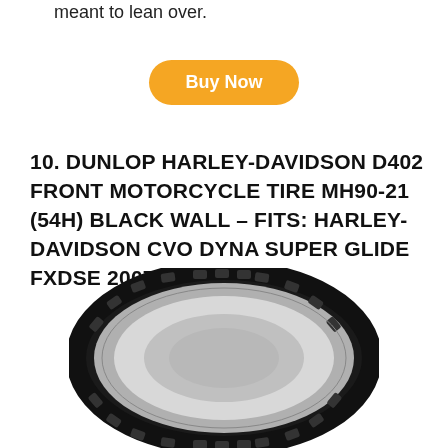meant to lean over.
Buy Now
10. DUNLOP HARLEY-DAVIDSON D402 FRONT MOTORCYCLE TIRE MH90-21 (54H) BLACK WALL – FITS: HARLEY-DAVIDSON CVO DYNA SUPER GLIDE FXDSE 2007-2008
[Figure (photo): A Dunlop motorcycle tire, black wall, front-facing view showing tread pattern and sidewall, white background.]